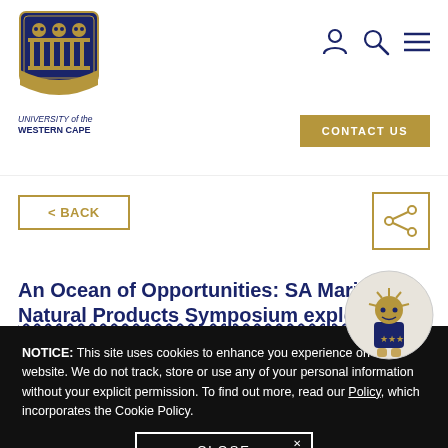[Figure (logo): University of the Western Cape crest/shield logo in navy blue and gold, with three owls on top and a building facade below]
UNIVERSITY of the WESTERN CAPE
[Figure (infographic): Navigation icons: person/account icon, search/magnifier icon, hamburger menu icon]
[Figure (infographic): CONTACT US gold button]
[Figure (infographic): < BACK button with gold border]
[Figure (infographic): Share icon button with gold border showing a share/network symbol]
An Ocean of Opportunities: SA Marine Natural Products Symposium explores
NOTICE: This site uses cookies to enhance you experience on our website. We do not track, store or use any of your personal information without your explicit permission. To find out more, read our Policy, which incorporates the Cookie Policy.
[Figure (illustration): UWC mascot character - a cartoon figure with a spiky/starfish-like head wearing a navy blue outfit with gold stars, standing on a light background within a circle]
[Figure (infographic): CLOSE button with white border and X marker]